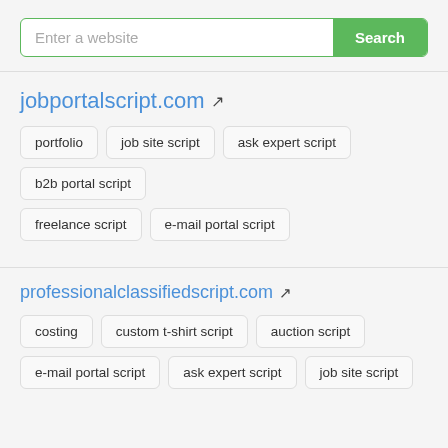Enter a website [Search]
jobportalscript.com
portfolio
job site script
ask expert script
b2b portal script
freelance script
e-mail portal script
professionalclassifiedscript.com
costing
custom t-shirt script
auction script
e-mail portal script
ask expert script
job site script